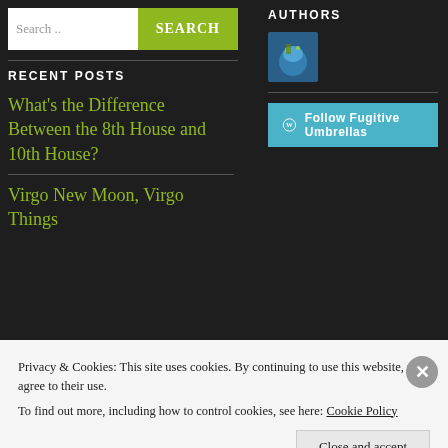[Figure (screenshot): Search bar with text input placeholder 'Search..' and green SEARCH button]
AUTHORS
[Figure (photo): Author avatar image, small square thumbnail showing a person or group on globe background]
[Figure (screenshot): Follow Fugitive Umbrellas button with WordPress icon, teal/cyan background]
RECENT POSTS
What's the Difference Between the 8th House and 10th House?
Virgo New Moon, Virgo Things
Privacy & Cookies: This site uses cookies. By continuing to use this website, you agree to their use. To find out more, including how to control cookies, see here: Cookie Policy
Close and accept